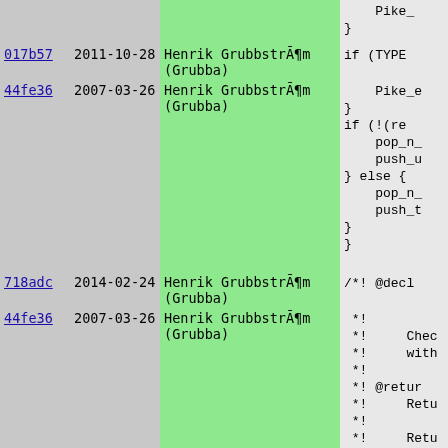| hash | date | author | code |
| --- | --- | --- | --- |
|  |  |  |     Pike_
} |
| 017b57 | 2011-10-28 | Henrik GrubbstrÃ¶m (Grubba) | if (TYPE |
| 44fe36 | 2007-03-26 | Henrik GrubbstrÃ¶m (Grubba) |     Pike_e
}
if (!(re
    pop_n_
    push_u
} else {
    pop_n_
    push_t
}
} |
| 718adc | 2014-02-24 | Henrik GrubbstrÃ¶m (Grubba) | /*! @decl |
| 44fe36 | 2007-03-26 | Henrik GrubbstrÃ¶m (Grubba) | *!
*!     Che
*!     wit
*!
*! @retur
*!     Ret
*!
*!     Ret
*!     may
*/ |
| c91468 | 2014-04-07 | Henrik GrubbstrÃ¶m (Grubba) | void f___g |
| 44fe36 | 2007-03-26 | Henrik GrubbstrÃ¶m (Grubba) | { |